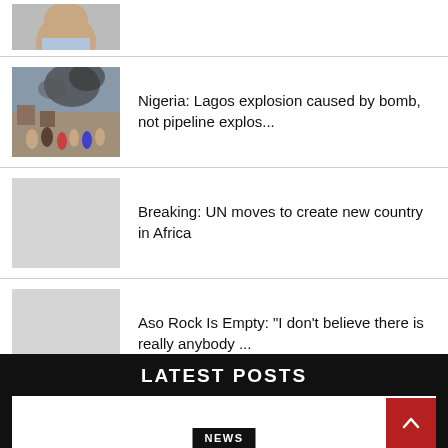[Figure (photo): Partial view of a person's face at top, cropped]
[Figure (photo): Crowd scene with smoke/explosion in background - Lagos explosion]
Nigeria: Lagos explosion caused by bomb, not pipeline explos...
[Figure (photo): Placeholder gray image for UN country article]
Breaking: UN moves to create new country in Africa
[Figure (photo): Placeholder gray image for Aso Rock article]
Aso Rock Is Empty: "I don't believe there is really anybody ..."
LATEST POSTS
NEWS